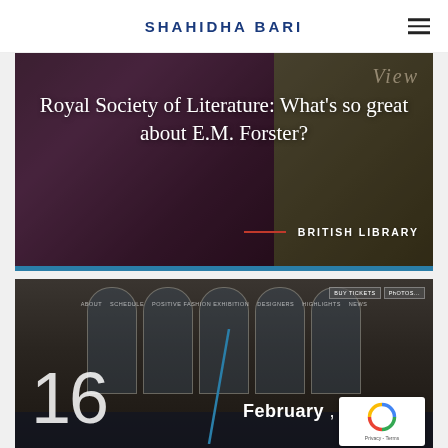SHAHIDHA BARI
[Figure (photo): Hero image card with dark purple/mauve background and olive-toned right panel showing partially visible text 'View'. Contains event title and venue.]
Royal Society of Literature: What's so great about E.M. Forster?
BRITISH LIBRARY
[Figure (photo): Second card showing a grand building with arched windows, crowd below, navigation bar overlay with menu items (ABOUT, SCHEDULE, POSITIVE FASHION EXHIBITION, DESIGNERS, HIGHLIGHTS, NEWS), date 16 February, 2020 overlaid in large white text, and a reCAPTCHA widget in bottom right.]
16 February , 2020